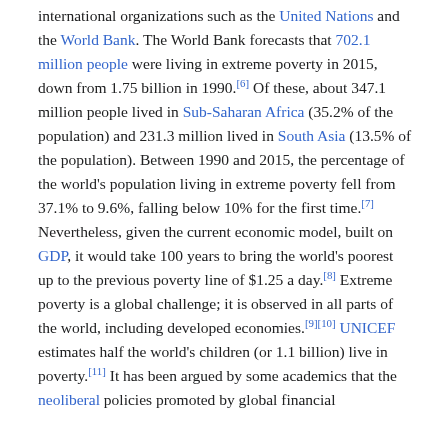international organizations such as the United Nations and the World Bank. The World Bank forecasts that 702.1 million people were living in extreme poverty in 2015, down from 1.75 billion in 1990.[6] Of these, about 347.1 million people lived in Sub-Saharan Africa (35.2% of the population) and 231.3 million lived in South Asia (13.5% of the population). Between 1990 and 2015, the percentage of the world's population living in extreme poverty fell from 37.1% to 9.6%, falling below 10% for the first time.[7] Nevertheless, given the current economic model, built on GDP, it would take 100 years to bring the world's poorest up to the previous poverty line of $1.25 a day.[8] Extreme poverty is a global challenge; it is observed in all parts of the world, including developed economies.[9][10] UNICEF estimates half the world's children (or 1.1 billion) live in poverty.[11] It has been argued by some academics that the neoliberal policies promoted by global financial